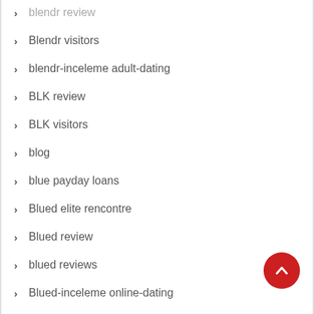blendr review
Blendr visitors
blendr-inceleme adult-dating
BLK review
BLK visitors
blog
blue payday loans
Blued elite rencontre
Blued review
blued reviews
Blued-inceleme online-dating
Bondage Com search
bondage-com-inceleme review
Bondage.com es gratis?
Bondage.com visitors
Bongacams review